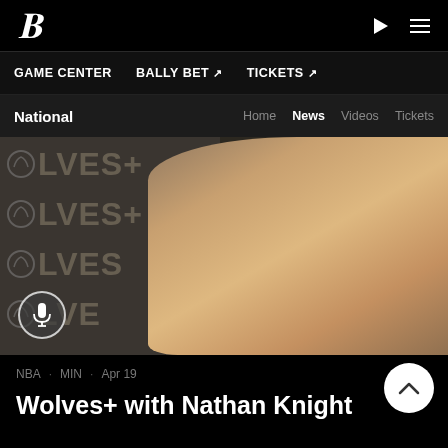B
GAME CENTER  BALLY BET ↗  TICKETS ↗
National  Home  News  Videos  Tickets
[Figure (photo): Nathan Knight seated in front of a Timberwolves Wolves+ backdrop, wearing a cream hoodie, with a microphone in front of him. A microphone podcast icon button is visible in the lower left corner.]
NBA  MIN  Apr 19
Wolves+ with Nathan Knight